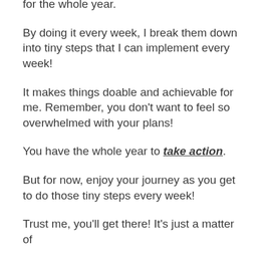for the whole year.
By doing it every week, I break them down into tiny steps that I can implement every week!
It makes things doable and achievable for me. Remember, you don't want to feel so overwhelmed with your plans!
You have the whole year to take action.
But for now, enjoy your journey as you get to do those tiny steps every week!
Trust me, you'll get there! It's just a matter of